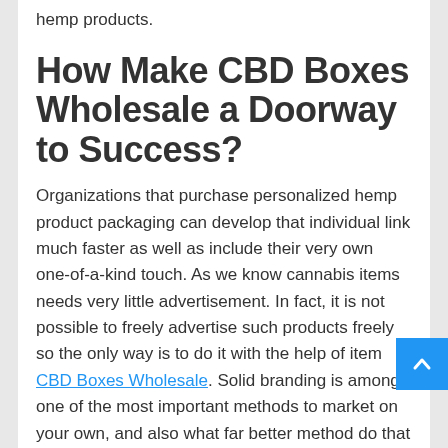hemp products.
How Make CBD Boxes Wholesale a Doorway to Success?
Organizations that purchase personalized hemp product packaging can develop that individual link much faster as well as include their very own one-of-a-kind touch. As we know cannabis items needs very little advertisement. In fact, it is not possible to freely advertise such products freely so the only way is to do it with the help of item CBD Boxes Wholesale. Solid branding is among one of the most important methods to market on your own, and also what far better method do that than via personalized product packaging? Ordinary, common boxes simply do